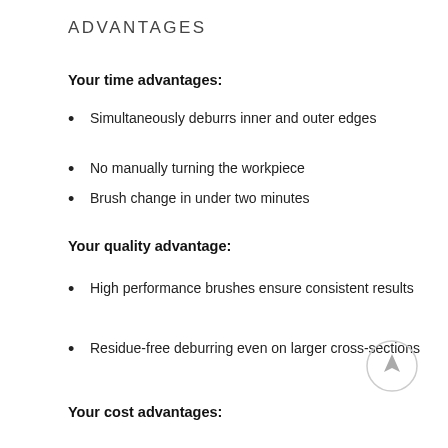ADVANTAGES
Your time advantages:
Simultaneously deburrs inner and outer edges
No manually turning the workpiece
Brush change in under two minutes
Your quality advantage:
High performance brushes ensure consistent results
Residue-free deburring even on larger cross-sections
Your cost advantages: